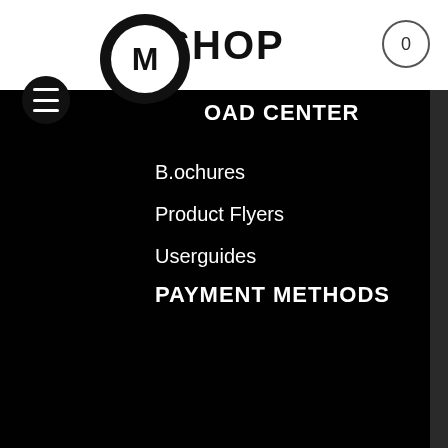SHOP
[Figure (logo): Molotow M logo in black circle with white inner circle]
OAD CENTER
B.ochures
Product Flyers
Userguides
PAYMENT METHODS